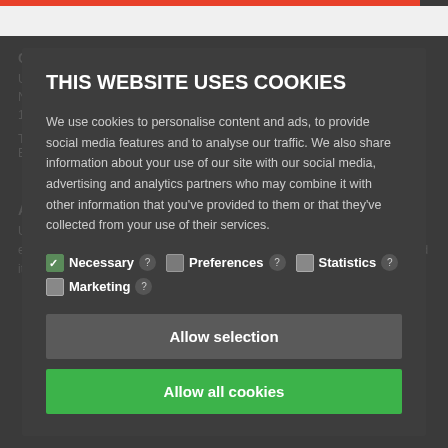THIS WEBSITE USES COOKIES
We use cookies to personalise content and ads, to provide social media features and to analyse our traffic. We also share information about your use of our site with our social media, advertising and analytics partners who may combine it with other information that you've provided to them or that they've collected from your use of their services.
Necessary ? Preferences ? Statistics ? Marketing ?
Allow selection
Allow all cookies
CONTACT UNIAVISEN
Nørregade 10
1165 København K
Tlf: 35 32 28 98 (mon-thurs)
E-m
ABOUT UNIAVISEN
University Post is the critical, independent newspaper for students and employees of University of Copenhagen and anyone else who wishes to read it. Read more about it here.